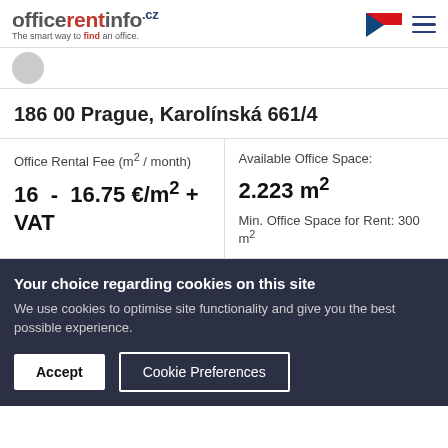officerentinfo.cz - The smart way to find an office.
186 00 Prague, Karolínská 661/4
| Office Rental Fee (m2 / month) | Available Office Space: |
| --- | --- |
| 16 - 16.75 €/m2 + VAT | 2.223 m2
Min. Office Space for Rent: 300 m2 |
Your choice regarding cookies on this site
We use cookies to optimise site functionality and give you the best possible experience.
Accept
Cookie Preferences